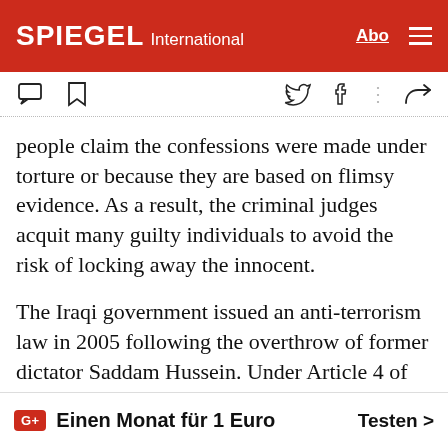SPIEGEL International
people claim the confessions were made under torture or because they are based on flimsy evidence. As a result, the criminal judges acquit many guilty individuals to avoid the risk of locking away the innocent.
The Iraqi government issued an anti-terrorism law in 2005 following the overthrow of former dictator Saddam Hussein. Under Article 4 of the law, which now also serves as the basis for verdicts against IS supporters, acts of terror are punishable with life in prison or death. The prob with this law is that
Einen Monat für 1 Euro   Testen >